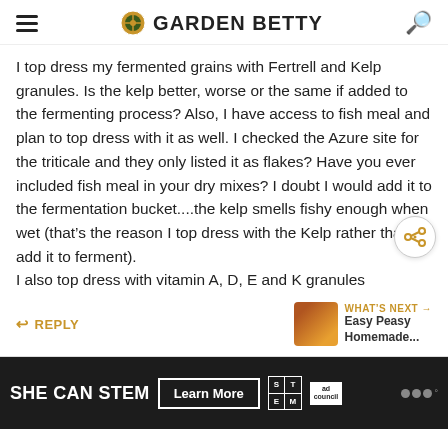GARDEN BETTY
I top dress my fermented grains with Fertrell and Kelp granules. Is the kelp better, worse or the same if added to the fermenting process? Also, I have access to fish meal and plan to top dress with it as well. I checked the Azure site for the triticale and they only listed it as flakes? Have you ever included fish meal in your dry mixes? I doubt I would add it to the fermentation bucket....the kelp smells fishy enough when wet (that's the reason I top dress with the Kelp rather than add it to ferment). I also top dress with vitamin A, D, E and K granules
REPLY
WHAT'S NEXT → Easy Peasy Homemade...
[Figure (other): SHE CAN STEM advertisement banner with Learn More button, STEM grid logo, and Ad Council logo]